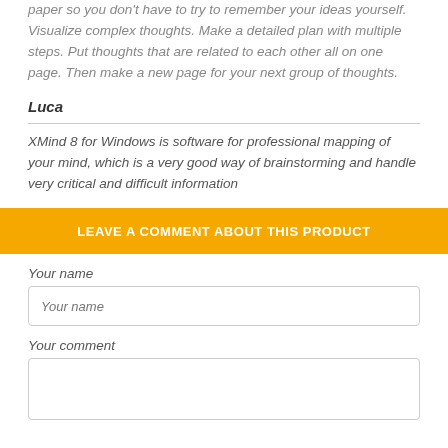paper so you don't have to try to remember your ideas yourself. Visualize complex thoughts. Make a detailed plan with multiple steps. Put thoughts that are related to each other all on one page. Then make a new page for your next group of thoughts.
Luca
XMind 8 for Windows is software for professional mapping of your mind, which is a very good way of brainstorming and handle very critical and difficult information
LEAVE A COMMENT ABOUT THIS PRODUCT
Your name
Your name
Your comment